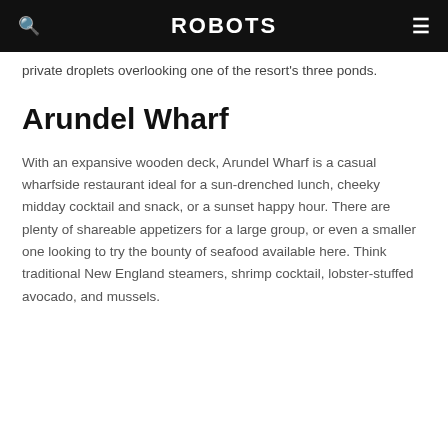ROBOTS
private droplets overlooking one of the resort's three ponds.
Arundel Wharf
With an expansive wooden deck, Arundel Wharf is a casual wharfside restaurant ideal for a sun-drenched lunch, cheeky midday cocktail and snack, or a sunset happy hour. There are plenty of shareable appetizers for a large group, or even a smaller one looking to try the bounty of seafood available here. Think traditional New England steamers, shrimp cocktail, lobster-stuffed avocado, and mussels.